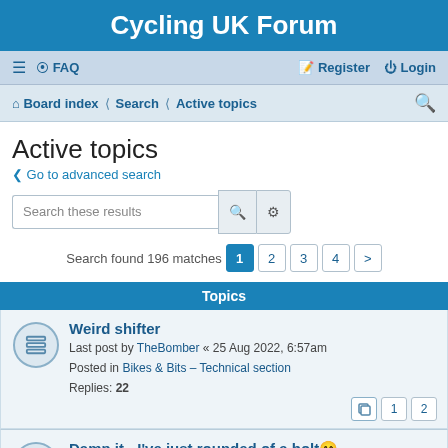Cycling UK Forum
≡  FAQ    Register  Login
Board index  Search  Active topics
Active topics
< Go to advanced search
Search these results
Search found 196 matches  1  2  3  4  >
Topics
Weird shifter
Last post by TheBomber « 25 Aug 2022, 6:57am
Posted in Bikes & Bits – Technical section
Replies: 22
Damn it - I've just rounded of a bolt😊
Last post by Dingdong « 25 Aug 2022, 5:53am
Posted in Bikes & Bits – Technical section
Replies: 14